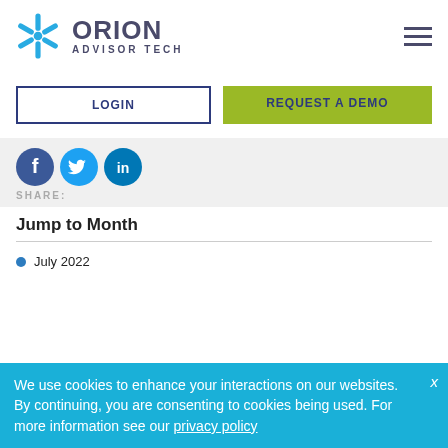[Figure (logo): Orion Advisor Tech logo with blue asterisk/star icon and dark text]
[Figure (infographic): Hamburger menu icon (three horizontal lines)]
[Figure (infographic): Login button with navy border and REQUEST A DEMO green button]
[Figure (infographic): Social media icons: Facebook, Twitter, LinkedIn circles]
SHARE:
Jump to Month
July 2022
We use cookies to enhance your interactions on our websites. By continuing, you are consenting to cookies being used. For more information see our privacy policy
April 2022